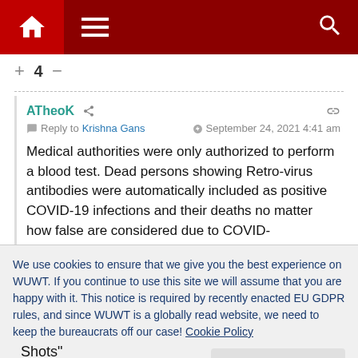Navigation bar with home, menu, and search icons
+ 4 −
ATheoK  Reply to Krishna Gans  September 24, 2021 4:41 am
Medical authorities were only authorized to perform a blood test. Dead persons showing Retro-virus antibodies were automatically included as positive COVID-19 infections and their deaths no matter how false are considered due to COVID-
We use cookies to ensure that we give you the best experience on WUWT. If you continue to use this site we will assume that you are happy with it. This notice is required by recently enacted EU GDPR rules, and since WUWT is a globally read website, we need to keep the bureaucrats off our case! Cookie Policy
Close and accept
Shots"